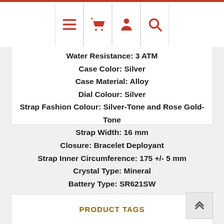Navigation bar with menu, cart, account, and search icons
Water Resistance: 3 ATM
Case Color: Silver
Case Material: Alloy
Dial Colour: Silver
Strap Fashion Colour: Silver-Tone and Rose Gold-Tone
Strap Width: 16 mm
Closure: Bracelet Deployant
Strap Inner Circumference: 175 +/- 5 mm
Crystal Type: Mineral
Battery Type: SR621SW
PRODUCT TAGS